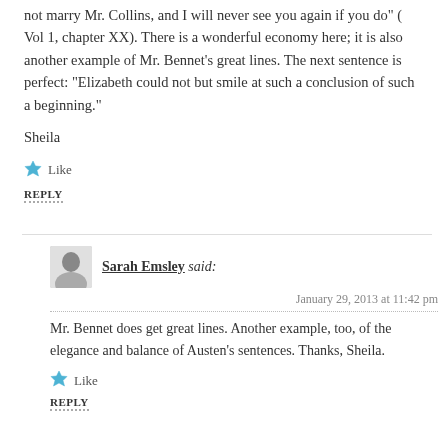not marry Mr. Collins, and I will never see you again if you do" ( Vol 1, chapter XX). There is a wonderful economy here; it is also another example of Mr. Bennet’s great lines. The next sentence is perfect: “Elizabeth could not but smile at such a conclusion of such a beginning.”
Sheila
Like
REPLY
Sarah Emsley said:
January 29, 2013 at 11:42 pm
Mr. Bennet does get great lines. Another example, too, of the elegance and balance of Austen’s sentences. Thanks, Sheila.
Like
REPLY